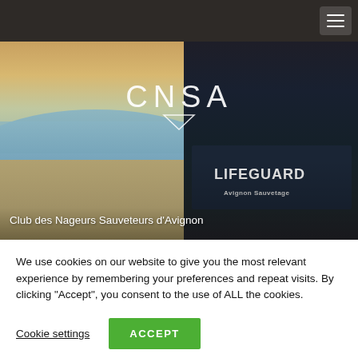[Figure (screenshot): Website screenshot of CNSA (Club des Nageurs Sauveteurs d'Avignon) showing a dark top navigation bar with hamburger menu icon, a hero image of a lifeguard on a beach wearing a dark shirt with 'LIFEGUARD' and 'Avignon Sauvetage' text with CNSA logo overlay, and a cookie consent banner at the bottom.]
Club des Nageurs Sauveteurs d'Avignon
We use cookies on our website to give you the most relevant experience by remembering your preferences and repeat visits. By clicking “Accept”, you consent to the use of ALL the cookies.
Cookie settings
ACCEPT